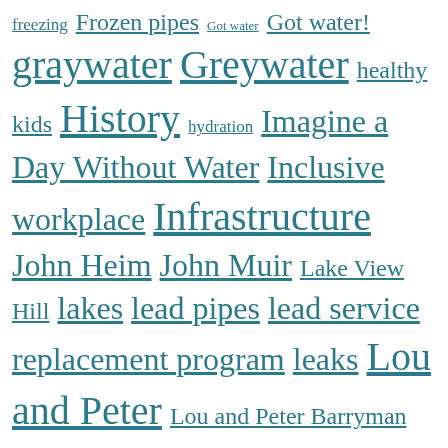freezing Frozen pipes Got water Got water! graywater Greywater healthy kids History hydration Imagine a Day Without Water Inclusive workplace Infrastructure John Heim John Muir Lake View Hill lakes lead pipes lead service replacement program leaks Lou and Peter Lou and Peter Barryman Low Income Mad City Tappers Mad Women on Tap Madison Madison City Channel Madison Kipp Madison Municipal Services Madison Water